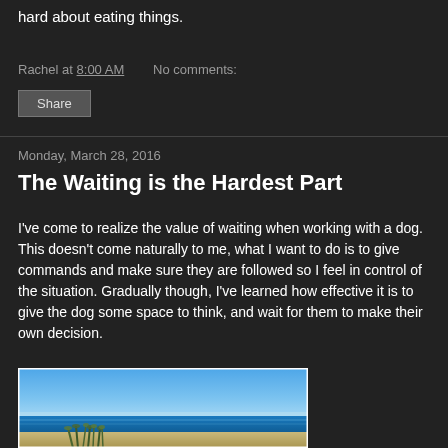hard about eating things.
Rachel at 8:00 AM   No comments:
Share
Monday, March 28, 2016
The Waiting is the Hardest Part
I've come to realize the value of waiting when working with a dog. This doesn't come naturally to me, what I want to do is to give commands and make sure they are followed so I feel in control of the situation. Gradually though, I've learned how effective it is to give the dog some space to think, and wait for them to make their own decision.
[Figure (photo): A beach scene with blue sky, ocean water, and sea grass in the foreground]